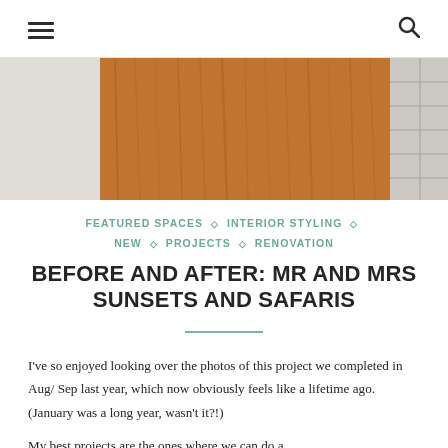≡  🔍
[Figure (photo): Close-up photo of a wooden cabinet door with oak wood grain texture, with white subway tiles partially visible on the right side]
FEATURED SPACES ◇ INTERIOR STYLING ◇ NEW ◇ PROJECTS ◇ RENOVATION
BEFORE AND AFTER: MR AND MRS SUNSETS AND SAFARIS
I've so enjoyed looking over the photos of this project we completed in Aug/ Sep last year, which now obviously feels like a lifetime ago. (January was a long year, wasn't it?!)
My best projects are the ones where we can do a